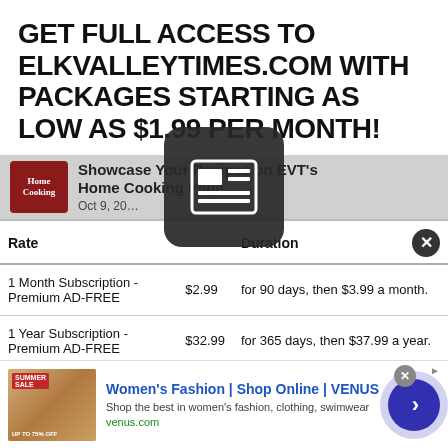GET FULL ACCESS TO ELKVALLEYTIMES.COM WITH PACKAGES STARTING AS LOW AS $1.99 PER MONTH!
[Figure (screenshot): Article preview strip showing Home Cooking logo and partial article title 'Showcase Your Recipes on EVT's Home Cooking Page' with date Oct 9, with a newspaper icon overlay]
| Rate |  | Duration |  |
| --- | --- | --- | --- |
| 1 Month Subscription - Premium AD-FREE | $2.99 | for 90 days, then $3.99 a month. |  |
| 1 Year Subscription - Premium AD-FREE | $32.99 | for 365 days, then $37.99 a year. |  |
| 1 Month Subscription - Basic | $1.99 | for 90 days, then $2.99 a month. |  |
| 1 Year Subscription - Basic | $24.99 | for 365 days, then $29.99 a year. |  |
[Figure (infographic): Ad banner for Women's Fashion | Shop Online | VENUS with thumbnail image, blue title, description and venus.com URL, and a blue arrow button]